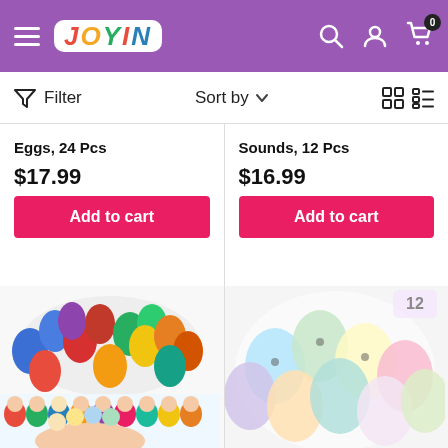JOYIN - navigation header with hamburger menu, logo, search, account, and cart icons
Filter | Sort by
Eggs, 24 Pcs
$17.99
Sounds, 12 Pcs
$16.99
[Figure (photo): Colorful plastic Easter eggs in rainbow colors (blue, red, purple, green, yellow, orange) arranged in a pile, with small cartoon animal finger puppet toys displayed below them]
[Figure (photo): Pastel-colored Easter eggs with cartoon character designs arranged in a pile, with '12' label visible in top right corner]